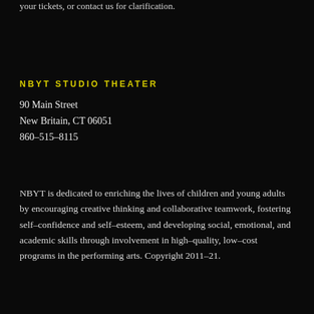your tickets, or contact us for clarification.
NBYT STUDIO THEATER
90 Main Street
New Britain, CT 06051
860–515–8115
NBYT is dedicated to enriching the lives of children and young adults by encouraging creative thinking and collaborative teamwork, fostering self–confidence and self–esteem, and developing social, emotional, and academic skills through involvement in high–quality, low–cost programs in the performing arts. Copyright 2011–21.